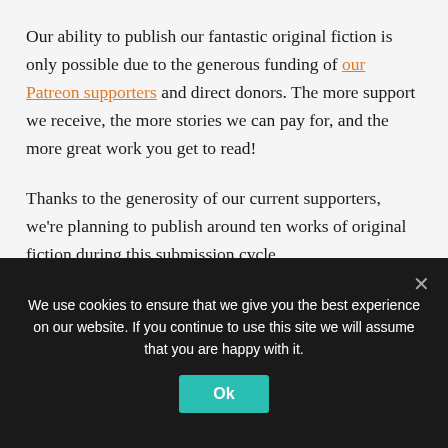Our ability to publish our fantastic original fiction is only possible due to the generous funding of our Patreon supporters and direct donors. The more support we receive, the more stories we can pay for, and the more great work you get to read!
Thanks to the generosity of our current supporters, we're planning to publish around ten works of original fiction during this submission cycle.
We also have non-paying opportunities for other kinds of work. These include essays, reviews, reprints and excerpts of
We use cookies to ensure that we give you the best experience on our website. If you continue to use this site we will assume that you are happy with it.